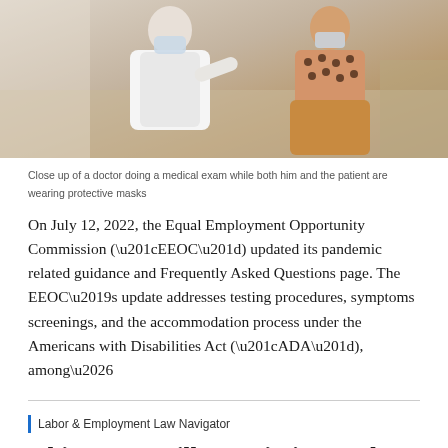[Figure (photo): Close up of a doctor doing a medical exam while both him and the patient are wearing protective masks]
Close up of a doctor doing a medical exam while both him and the patient are wearing protective masks
On July 12, 2022, the Equal Employment Opportunity Commission (“EEOC”) updated its pandemic related guidance and Frequently Asked Questions page. The EEOC’s update addresses testing procedures, symptoms screenings, and the accommodation process under the Americans with Disabilities Act (“ADA”), among…
Labor & Employment Law Navigator
Ohio House Bill 447 Limits Workers Compensation Coverage For